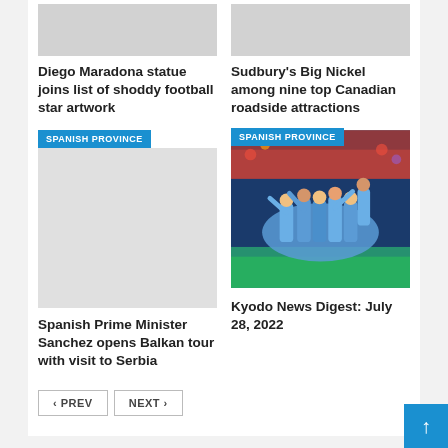[Figure (photo): Gray placeholder image for Diego Maradona article]
Diego Maradona statue joins list of shoddy football star artwork
[Figure (photo): Gray placeholder image for Sudbury's Big Nickel article]
Sudbury's Big Nickel among nine top Canadian roadside attractions
SPANISH PROVINCE
[Figure (photo): Soccer players celebrating on field, blue jerseys — SPANISH PROVINCE badge overlaid]
Spanish Prime Minister Sanchez opens Balkan tour with visit to Serbia
Kyodo News Digest: July 28, 2022
< PREV  NEXT >
[Figure (other): Blue scroll-to-top button with upward arrow, bottom right corner]